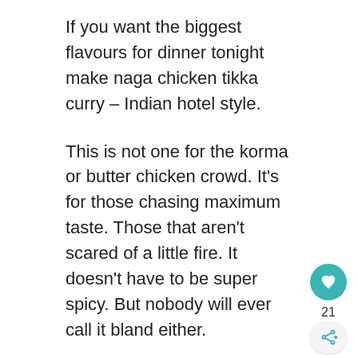If you want the biggest flavours for dinner tonight make naga chicken tikka curry – Indian hotel style.
This is not one for the korma or butter chicken crowd. It’s for those chasing maximum taste. Those that aren’t scared of a little fire. It doesn’t have to be super spicy. But nobody will ever call it bland either.
Try to imagine. Chicken tikka. Little tandoori chicken bites. The haunting aroma of naga chili. Wrapped up in a